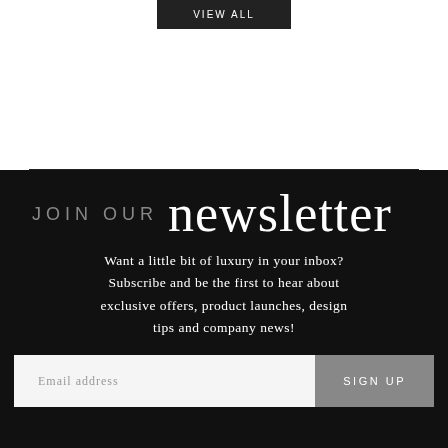VIEW ALL
JOIN OUR newsletter
Want a little bit of luxury in your inbox? Subscribe and be the first to hear about exclusive offers, product launches, design tips and company news!
Email address
SIGN UP